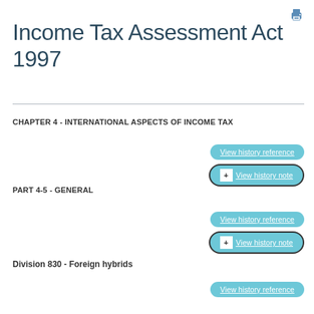[Figure (other): Printer icon in top right corner]
Income Tax Assessment Act 1997
CHAPTER 4 - INTERNATIONAL ASPECTS OF INCOME TAX
View history reference
+ View history note
PART 4-5 - GENERAL
View history reference
+ View history note
Division 830 - Foreign hybrids
View history reference